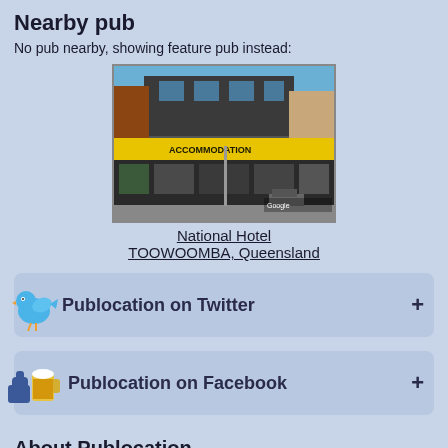Nearby pub
No pub nearby, showing feature pub instead:
[Figure (photo): Street view photo of National Hotel building with yellow ACCOMMODATION sign, brick facade, street-level shops]
National Hotel
TOOWOOMBA, Queensland
Publocation on Twitter
Publocation on Facebook
About Publocation
Publocation is a site dedicated to the Hotel industry, its employees, patrons,